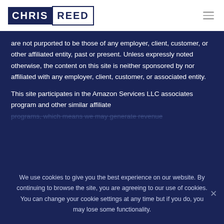CHRIS REED
are not purported to be those of any employer, client, customer, or other affiliated entity, past or present. Unless expressly noted otherwise, the content on this site is neither sponsored by nor affiliated with any employer, client, customer, or associated entity.
This site participates in the Amazon Services LLC associates program and other similar affiliate programs, which means we may generate revenue...
We use cookies to give you the best experience on our website. By continuing to browse the site, you are agreeing to our use of cookies. You can change your cookie settings at any time but if you do, you may lose some functionality.